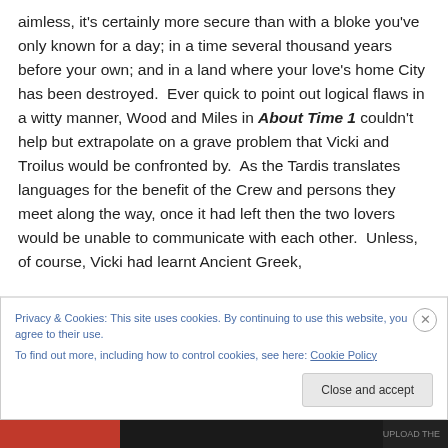aimless, it's certainly more secure than with a bloke you've only known for a day; in a time several thousand years before your own; and in a land where your love's home City has been destroyed.  Ever quick to point out logical flaws in a witty manner, Wood and Miles in About Time 1 couldn't help but extrapolate on a grave problem that Vicki and Troilus would be confronted by.  As the Tardis translates languages for the benefit of the Crew and persons they meet along the way, once it had left then the two lovers would be unable to communicate with each other.  Unless, of course, Vicki had learnt Ancient Greek,
Privacy & Cookies: This site uses cookies. By continuing to use this website, you agree to their use.
To find out more, including how to control cookies, see here: Cookie Policy